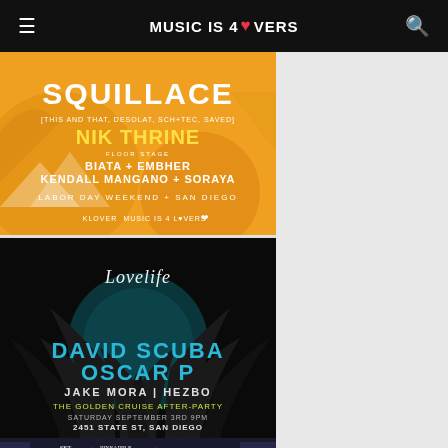MUSIC IS 4 LOVERS
[Figure (illustration): Event poster for Squillace [This and That, Desolat, Sch+tec, Saved] with Nik Thrine, Biata + Embher, Kendall Mangano + Soraya, Labor Day Weekend + San Diego. Orange background with abstract shapes.]
[Figure (illustration): Lovelife event poster: David Scuba, Oscar P, Jake Mora | Hezbo. The Golden Cruise After-Party. Saturday September 3rd 9pm. 2451 State St, San Diego. Dark background with palm silhouette.]
[Figure (illustration): Partial bottom poster showing SET + PINEAPPLE + partial text, colorful neon background.]